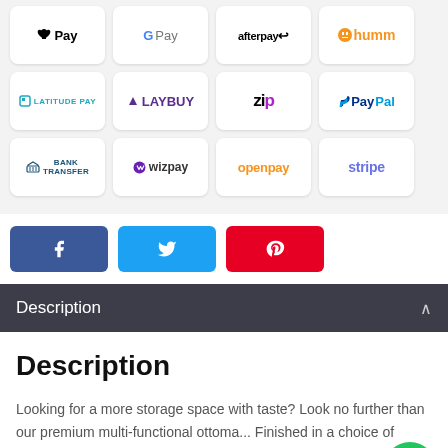[Figure (infographic): Payment method logos grid: Apple Pay, Google Pay, afterpay, humm, Latitude Pay, Laybuy, Zip, PayPal, Bank Transfer, wizpay, openpay, stripe]
[Figure (infographic): Social sharing buttons: Facebook (blue), Twitter (cyan), Pinterest (red)]
Description
Description
Looking for a more storage space with taste? Look no further than our premium multi-functional ottoma... Finished in a choice of premium PU leather or fa... linen fabric, our ottoman are simply luxurious to rest on...